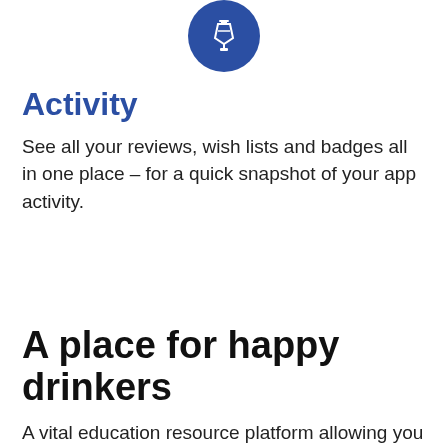[Figure (illustration): Blue circle icon with a pen/nib tool symbol in white, centered at top of page]
Activity
See all your reviews, wish lists and badges all in one place – for a quick snapshot of your app activity.
A place for happy drinkers
A vital education resource platform allowing you to explore the increasingly expanding world of alcohol free evolution of drinking.